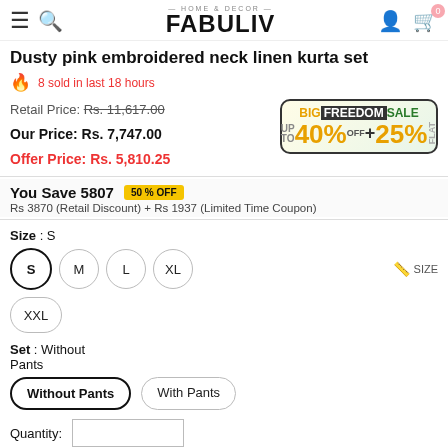HOME & DECOR FABULIV
Dusty pink embroidered neck linen kurta set
8 sold in last 18 hours
Retail Price: Rs. 11,617.00
Our Price: Rs. 7,747.00
Offer Price: Rs. 5,810.25
[Figure (infographic): BIG FREEDOM SALE banner with UP TO 40% OFF + 25% FLAT discount badge]
You Save 5807  50% OFF
Rs 3870 (Retail Discount) + Rs 1937 (Limited Time Coupon)
Size : S
Size options: S (selected), M, L, XL, XXL
Set : Without Pants
Set options: Without Pants (selected), With Pants
Quantity: